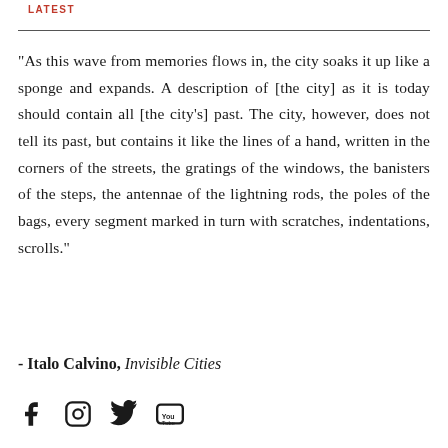LATEST
"As this wave from memories flows in, the city soaks it up like a sponge and expands. A description of [the city] as it is today should contain all [the city's] past. The city, however, does not tell its past, but contains it like the lines of a hand, written in the corners of the streets, the gratings of the windows, the banisters of the steps, the antennae of the lightning rods, the poles of the bags, every segment marked in turn with scratches, indentations, scrolls."
- Italo Calvino, Invisible Cities